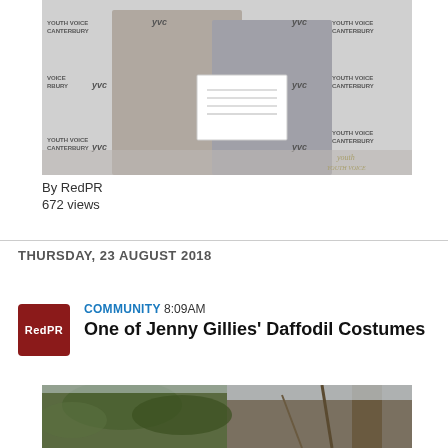[Figure (photo): Two young women standing in front of a 'Youth Voice Canterbury' branded backdrop. One is holding a certificate. They are smiling at the camera.]
By RedPR
672 views
THURSDAY, 23 AUGUST 2018
COMMUNITY 8:09AM
One of Jenny Gillies' Daffodil Costumes
[Figure (photo): Partial view of a tree with green leaves against a light sky background.]